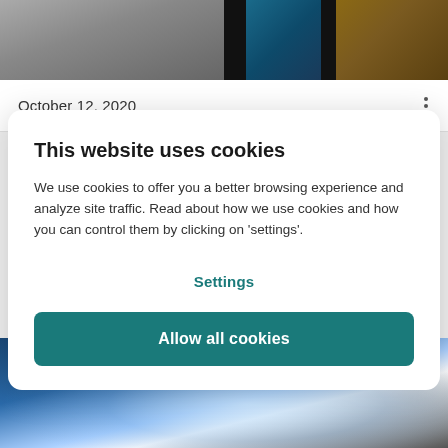[Figure (photo): Top portion of a photo showing what appears to be an electric vehicle charging cable/connector against a dark background with a brick wall and outdoor setting]
October 12, 2020
This website uses cookies
We use cookies to offer you a better browsing experience and analyze site traffic. Read about how we use cookies and how you can control them by clicking on 'settings'.
Settings
Allow all cookies
[Figure (photo): Bottom portion of a photo showing hands working with a blue electronic/electrical component in an industrial or laboratory setting]